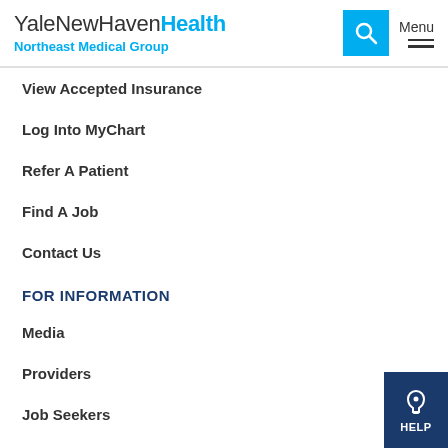YaleNewHavenHealth Northeast Medical Group
View Accepted Insurance
Log Into MyChart
Refer A Patient
Find A Job
Contact Us
FOR INFORMATION
Media
Providers
Job Seekers
CONTACT US
Northeast Medical Group